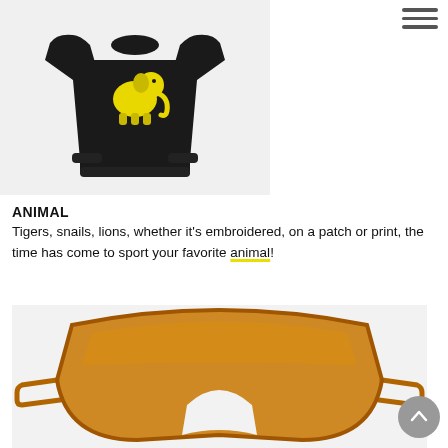[Figure (photo): Black sweater/jumper with yellow elephant graphic on chest, displayed on a light gray background]
ANIMAL
Tigers, snails, lions, whether it's embroidered, on a patch or print, the time has come to sport your favorite animal!
[Figure (photo): Close-up of amber/orange tinted shield sunglasses with gold/brown frame, on light gray background]